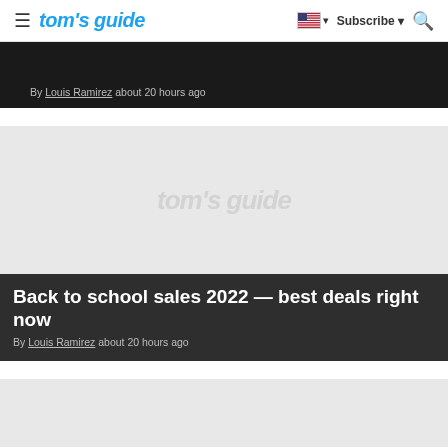tom's guide — Subscribe
[Figure (screenshot): Dark banner image with article byline: By Louis Ramirez about 20 hours ago]
By Louis Ramirez about 20 hours ago
[Figure (photo): Gray placeholder image with tom's guide watermark]
Back to school sales 2022 — best deals right now
By Louis Ramirez about 20 hours ago
[Figure (photo): Gray placeholder image at bottom of page]